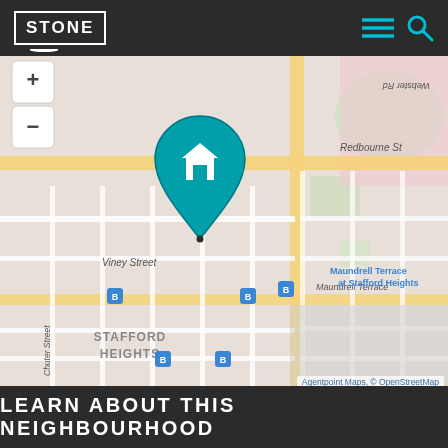STONE
[Figure (map): Street map of Stafford Heights area showing Maundrell Terrace at Stafford Heights location with a teal house pin marker. Streets visible include Kinnerton St, Redbourne St, Viney Street, Chuter Street, Kendale Street, Maundrell Terrace. Bus stop icons in blue are shown. Map credit: Agentpoint Maps, © OpenStreetMap]
Agentpoint Maps, © OpenStreetMap
LEARN ABOUT THIS NEIGHBOURHOOD